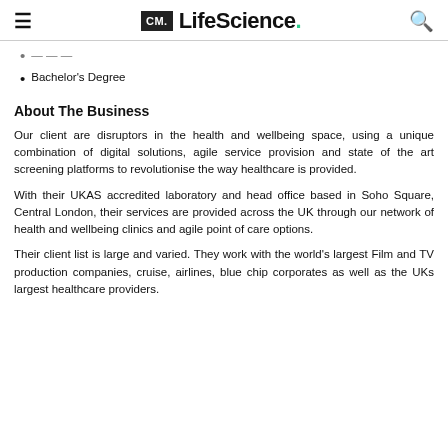CM. LifeScience.
Bachelor's Degree
About The Business
Our client are disruptors in the health and wellbeing space, using a unique combination of digital solutions, agile service provision and state of the art screening platforms to revolutionise the way healthcare is provided.
With their UKAS accredited laboratory and head office based in Soho Square, Central London, their services are provided across the UK through our network of health and wellbeing clinics and agile point of care options.
Their client list is large and varied. They work with the world's largest Film and TV production companies, cruise, airlines, blue chip corporates as well as the UKs largest healthcare providers.